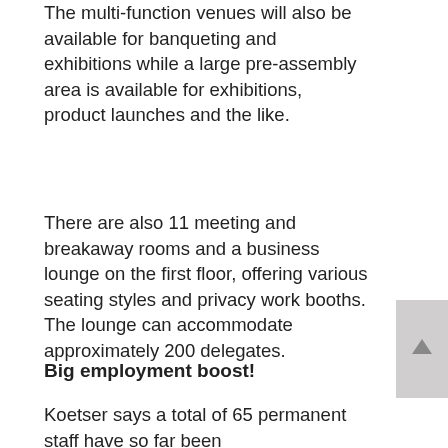The multi-function venues will also be available for banqueting and exhibitions while a large pre-assembly area is available for exhibitions, product launches and the like.
There are also 11 meeting and breakaway rooms and a business lounge on the first floor, offering various seating styles and privacy work booths. The lounge can accommodate approximately 200 delegates.
Big employment boost!
Koetser says a total of 65 permanent staff have so far been